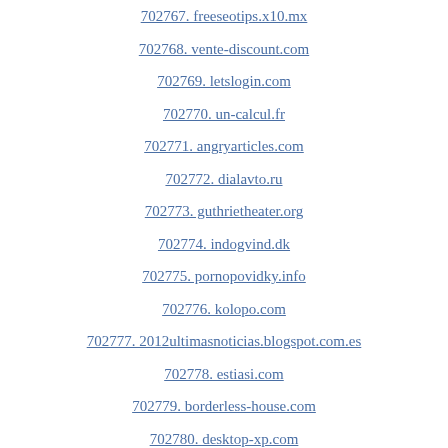702767. freeseotips.x10.mx
702768. vente-discount.com
702769. letslogin.com
702770. un-calcul.fr
702771. angryarticles.com
702772. dialavto.ru
702773. guthrietheater.org
702774. indogvind.dk
702775. pornopovidky.info
702776. kolopo.com
702777. 2012ultimasnoticias.blogspot.com.es
702778. estiasi.com
702779. borderless-house.com
702780. desktop-xp.com
702781. sondernoizle.com